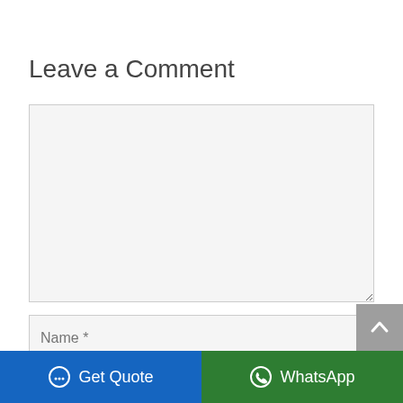Leave a Comment
[Figure (screenshot): A comment form with a large textarea for comment input, a Name field below it, and at the bottom a blue 'Get Quote' button and a green 'WhatsApp' button side by side. A gray scroll-to-top button with an upward arrow is visible on the right side above the bottom bar.]